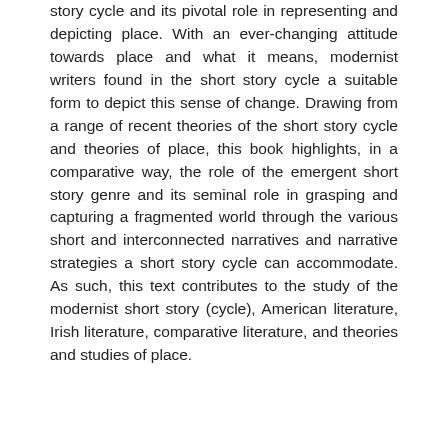story cycle and its pivotal role in representing and depicting place. With an ever-changing attitude towards place and what it means, modernist writers found in the short story cycle a suitable form to depict this sense of change. Drawing from a range of recent theories of the short story cycle and theories of place, this book highlights, in a comparative way, the role of the emergent short story genre and its seminal role in grasping and capturing a fragmented world through the various short and interconnected narratives and narrative strategies a short story cycle can accommodate. As such, this text contributes to the study of the modernist short story (cycle), American literature, Irish literature, comparative literature, and theories and studies of place.